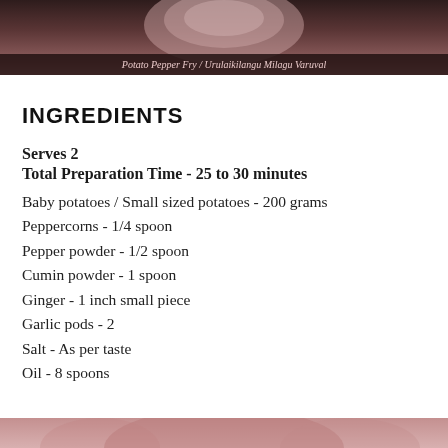[Figure (photo): Food photo of Potato Pepper Fry dish with caption overlay]
Potato Pepper Fry / Urulaikilangu Milagu Varuval
INGREDIENTS
Serves 2
Total Preparation Time - 25 to 30 minutes
Baby potatoes / Small sized potatoes - 200 grams
Peppercorns - 1/4 spoon
Pepper powder - 1/2 spoon
Cumin powder - 1 spoon
Ginger - 1 inch small piece
Garlic pods - 2
Salt - As per taste
Oil - 8 spoons
[Figure (photo): Partial food photo visible at bottom of page]